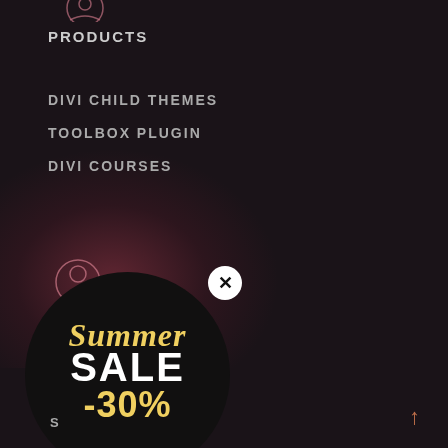[Figure (illustration): Dark navigation menu on dark background with user icon at top]
PRODUCTS
DIVI CHILD THEMES
TOOLBOX PLUGIN
DIVI COURSES
[Figure (illustration): Summer Sale -30% promotional popup circle with close (X) button, on dark background with pink glow effect]
S...
[Figure (illustration): Up arrow icon bottom right in orange/coral color]